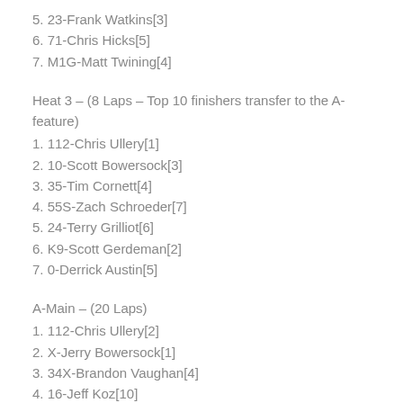5. 23-Frank Watkins[3]
6. 71-Chris Hicks[5]
7. M1G-Matt Twining[4]
Heat 3 – (8 Laps – Top 10 finishers transfer to the A-feature)
1. 112-Chris Ullery[1]
2. 10-Scott Bowersock[3]
3. 35-Tim Cornett[4]
4. 55S-Zach Schroeder[7]
5. 24-Terry Grilliot[6]
6. K9-Scott Gerdeman[2]
7. 0-Derrick Austin[5]
A-Main – (20 Laps)
1. 112-Chris Ullery[2]
2. X-Jerry Bowersock[1]
3. 34X-Brandon Vaughan[4]
4. 16-Jeff Koz[10]
5. 20K-Bill Keeler[5]
6. K9-Scott Gerdeman[18]